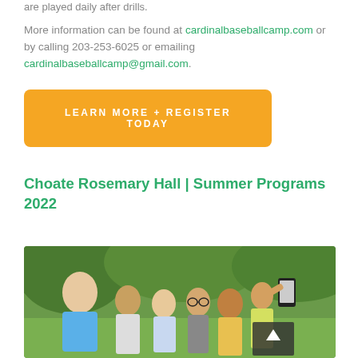are played daily after drills.
More information can be found at cardinalbaseballcamp.com or by calling 203-253-6025 or emailing cardinalbaseballcamp@gmail.com.
LEARN MORE + REGISTER TODAY
Choate Rosemary Hall | Summer Programs 2022
[Figure (photo): Group of teenagers taking a selfie outdoors on a sunny green lawn]